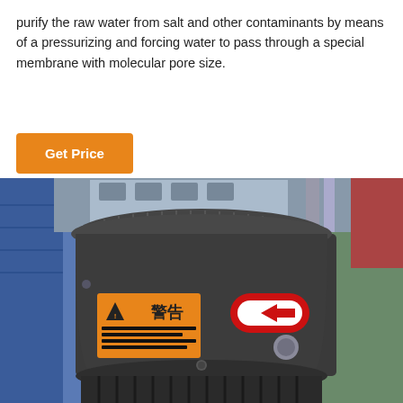purify the raw water from salt and other contaminants by means of a pressurizing and forcing water to pass through a special membrane with molecular pore size.
Get Price
[Figure (photo): Close-up photo of a dark grey industrial pump or motor unit with a ribbed cylindrical top, an orange warning label with Chinese text (警告) and hazard triangle, a red directional arrow sticker, and a metallic bolt/cap on the side. The unit sits against a blue background with other industrial equipment visible.]